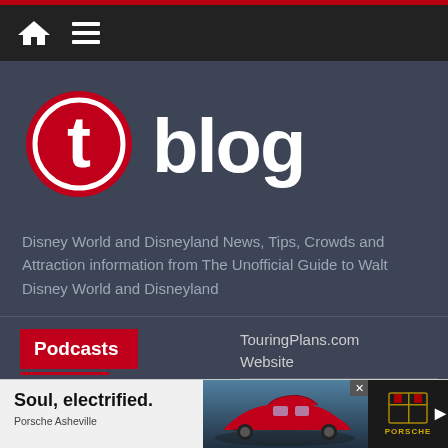Navigation bar with home and menu icons
[Figure (logo): Touring Plans blog logo: red circle with white 't' letter followed by the word 'blog' in white bold text]
Disney World and Disneyland News, Tips, Crowds and Attraction information from The Unofficial Guide to Walt Disney World and Disneyland
Podcasts
Disney Dish
TouringPlans.com Website
Free Subscriptions
[Figure (other): Porsche advertisement banner: 'Soul, electrified.' headline with red Porsche car image and Porsche Asheville dealer name with Porsche logo]